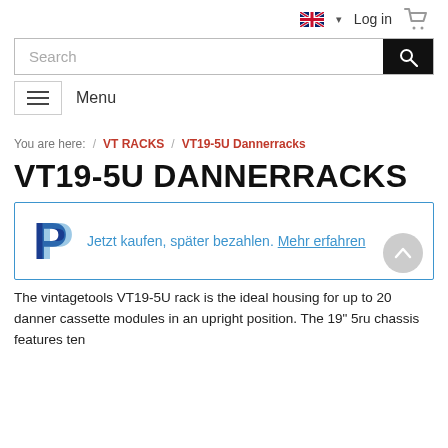Log in  [cart icon]
Search
Menu
You are here:  /  VT RACKS  /  VT19-5U Dannerracks
VT19-5U DANNERRACKS
Jetzt kaufen, später bezahlen. Mehr erfahren
The vintagetools VT19-5U rack is the ideal housing for up to 20 danner cassette modules in an upright position. The 19" 5ru chassis features ten